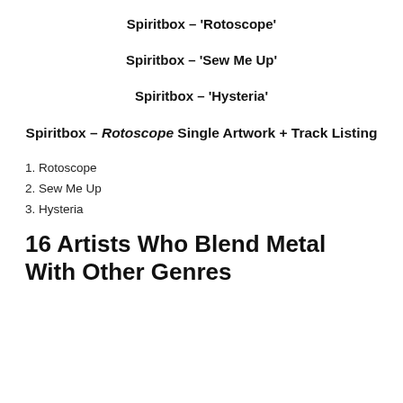Spiritbox – 'Rotoscope'
Spiritbox – 'Sew Me Up'
Spiritbox – 'Hysteria'
Spiritbox – Rotoscope Single Artwork + Track Listing
1. Rotoscope
2. Sew Me Up
3. Hysteria
16 Artists Who Blend Metal With Other Genres